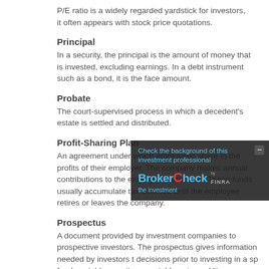P/E ratio is a widely regarded yardstick for investors, it often appears with stock price quotations.
Principal
In a security, the principal is the amount of money that is invested, excluding earnings. In a debt instrument such as a bond, it is the face amount.
Probate
The court-supervised process in which a decedent's estate is settled and distributed.
Profit-Sharing Plan
An agreement under which employees share in the profits of their employer. The company makes annual contributions to the employees' accounts. These funds usually accumulate tax deferred until the employee retires or leaves the company.
Prospectus
A document provided by investment companies to prospective investors. The prospectus gives information needed by investors to make decisions prior to investing in a specific mutual fund, variable annuity, or variable universal life insurance. The prospectus includes the investment the minimum investment amount the investment company's objectives, past performance, risk level,
[Figure (other): BrokerCheck overlay widget: 'Check the background of this investment professional' with BrokerCheck logo by FINRA]